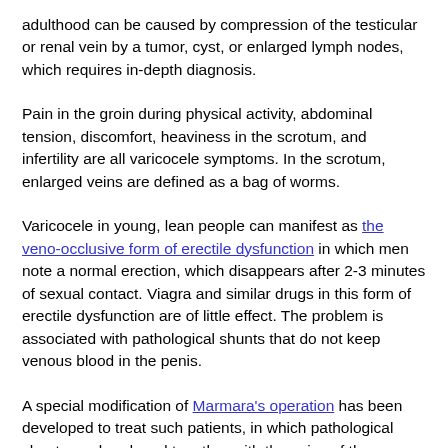adulthood can be caused by compression of the testicular or renal vein by a tumor, cyst, or enlarged lymph nodes, which requires in-depth diagnosis.
Pain in the groin during physical activity, abdominal tension, discomfort, heaviness in the scrotum, and infertility are all varicocele symptoms. In the scrotum, enlarged veins are defined as a bag of worms.
Varicocele in young, lean people can manifest as the veno-occlusive form of erectile dysfunction in which men note a normal erection, which disappears after 2-3 minutes of sexual contact. Viagra and similar drugs in this form of erectile dysfunction are of little effect. The problem is associated with pathological shunts that do not keep venous blood in the penis.
A special modification of Marmara's operation has been developed to treat such patients, in which pathological shunts are bandaged together with the veins of the seminal rope.